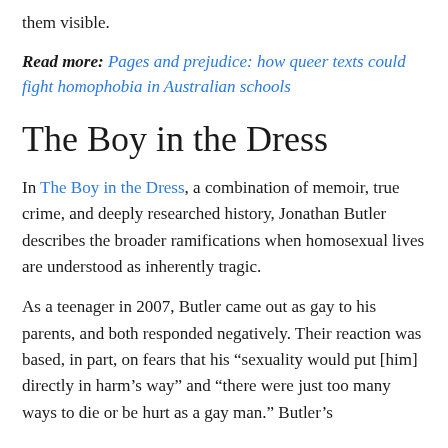them visible.
Read more: Pages and prejudice: how queer texts could fight homophobia in Australian schools
The Boy in the Dress
In The Boy in the Dress, a combination of memoir, true crime, and deeply researched history, Jonathan Butler describes the broader ramifications when homosexual lives are understood as inherently tragic.
As a teenager in 2007, Butler came out as gay to his parents, and both responded negatively. Their reaction was based, in part, on fears that his “sexuality would put [him] directly in harm’s way” and “there were just too many ways to die or be hurt as a gay man.” Butler’s